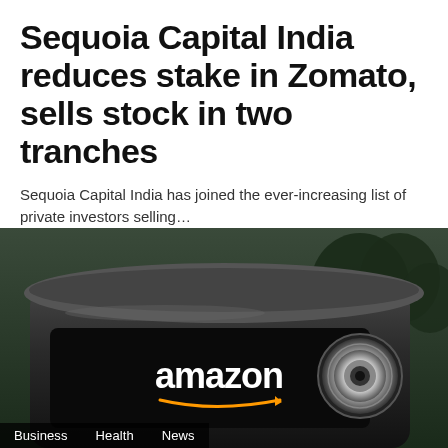Sequoia Capital India reduces stake in Zomato, sells stock in two tranches
Sequoia Capital India has joined the ever-increasing list of private investors selling…
Soumyadeep Sarkar · August 26, 2022 · 15 shares · 2 minute read
[Figure (photo): Amazon-branded vehicle grill/front with circular headlight detail visible on the right side. Dark background with trees. Tags overlay at bottom: Business, Health, News.]